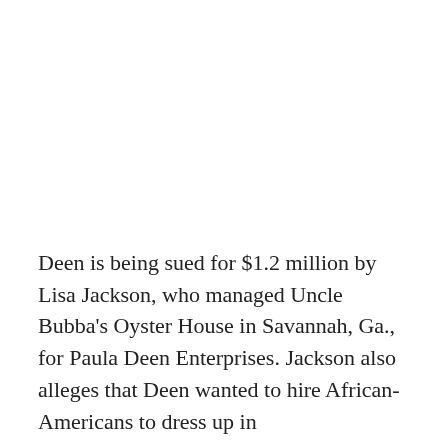Deen is being sued for $1.2 million by Lisa Jackson, who managed Uncle Bubba's Oyster House in Savannah, Ga., for Paula Deen Enterprises. Jackson also alleges that Deen wanted to hire African-Americans to dress up in